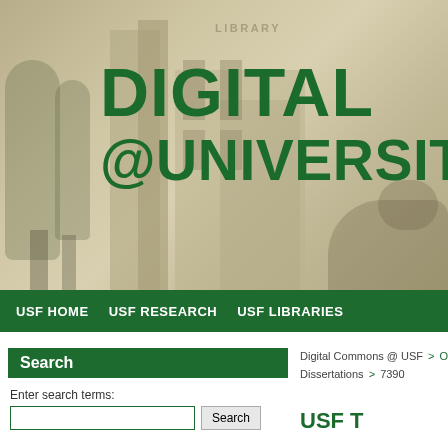[Figure (screenshot): USF Digital Commons header banner showing a sepia-toned library building photograph with large green bold text reading DIGITAL @UNIVERSITY overlaid on image]
LIBRARY
DIGITAL @UNIVERSITY
USF HOME  USF RESEARCH  USF LIBRARIES
Search
Enter search terms:
Digital Commons @ USF > Offi... Dissertations > 7390
USF T...